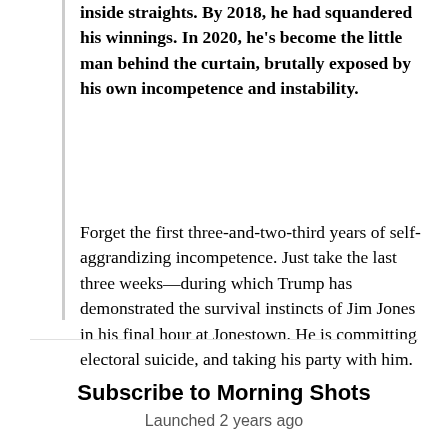inside straights. By 2018, he had squandered his winnings. In 2020, he's become the little man behind the curtain, brutally exposed by his own incompetence and instability.
Forget the first three-and-two-third years of self-aggrandizing incompetence. Just take the last three weeks—during which Trump has demonstrated the survival instincts of Jim Jones in his final hour at Jonestown. He is committing electoral suicide, and taking his party with him.
Subscribe to Morning Shots
Launched 2 years ago